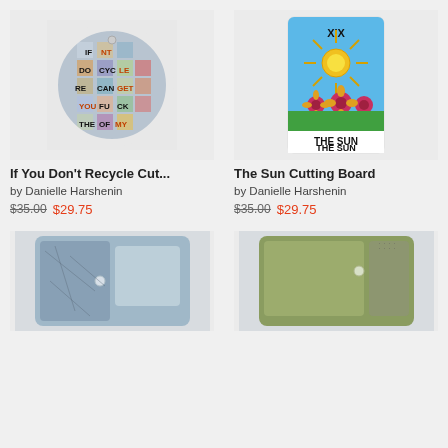[Figure (photo): Circular cutting board with colorful stenciled text: IF YOU DON'T RECYCLE GET THE FUCK OUT OF MY HOUSE]
If You Don't Recycle Cut...
by Danielle Harshenin
$35.00  $29.75
[Figure (photo): Rectangular cutting board featuring The Sun tarot card (XIX) design with sun and sunflowers illustration]
The Sun Cutting Board
by Danielle Harshenin
$35.00  $29.75
[Figure (photo): Partially visible cutting board with blue/purple crackled glaze art]
[Figure (photo): Partially visible cutting board with green/olive nature scene]